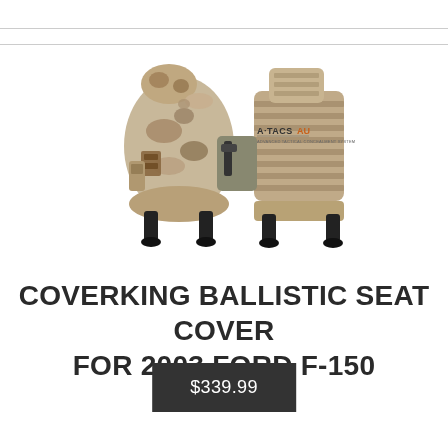[Figure (photo): Product photo of Coverking Ballistic seat covers for 2003 Ford F-150, showing tactical/military style camo seat covers with multiple pockets and straps, viewed from the rear of two front seats. A-TACS AU logo visible.]
COVERKING BALLISTIC SEAT COVER FOR 2003 FORD F-150
$339.99